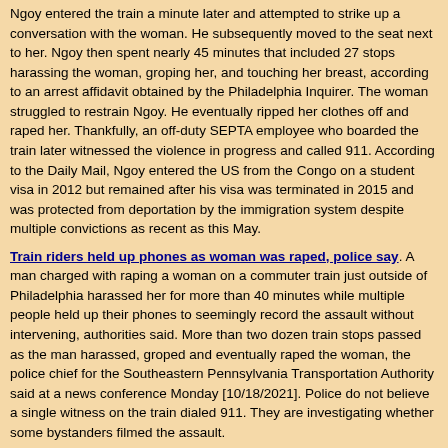Ngoy entered the train a minute later and attempted to strike up a conversation with the woman. He subsequently moved to the seat next to her. Ngoy then spent nearly 45 minutes that included 27 stops harassing the woman, groping her, and touching her breast, according to an arrest affidavit obtained by the Philadelphia Inquirer. The woman struggled to restrain Ngoy. He eventually ripped her clothes off and raped her. Thankfully, an off-duty SEPTA employee who boarded the train later witnessed the violence in progress and called 911. According to the Daily Mail, Ngoy entered the US from the Congo on a student visa in 2012 but remained after his visa was terminated in 2015 and was protected from deportation by the immigration system despite multiple convictions as recent as this May.
Train riders held up phones as woman was raped, police say. A man charged with raping a woman on a commuter train just outside of Philadelphia harassed her for more than 40 minutes while multiple people held up their phones to seemingly record the assault without intervening, authorities said. More than two dozen train stops passed as the man harassed, groped and eventually raped the woman, the police chief for the Southeastern Pennsylvania Transportation Authority said at a news conference Monday [10/18/2021]. Police do not believe a single witness on the train dialed 911. They are investigating whether some bystanders filmed the assault.
[Figure (photo): Mugshot photo of a man with dreadlocks]
Man accused of raping woman on Philadelphia SEPTA train as passengers 'filmed it' is an illegal Congolese immigrant. The man accused of raping a stranger on a metro Philadelphia train full of